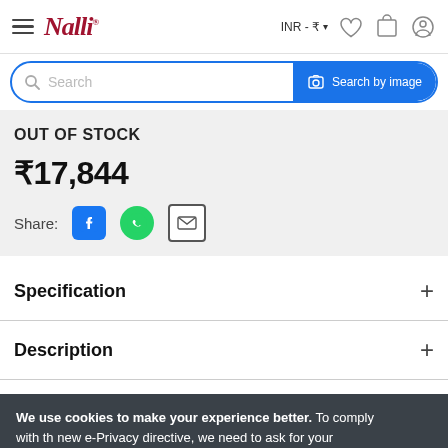Nalli — INR ₹
Search
OUT OF STOCK
₹17,844
Share:
Specification
Description
We use cookies to make your experience better. To comply with the new e-Privacy directive, we need to ask for your consent to set th